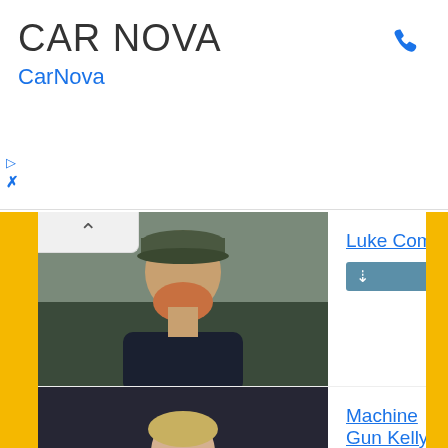[Figure (screenshot): CAR NOVA advertisement banner with phone icon and CarNova link]
[Figure (photo): Photo of Luke Combs, country music artist wearing cap]
Luke Combs
[Figure (photo): Photo of Machine Gun Kelly, rapper/musician]
Machine Gun Kelly
[Figure (photo): Photo of George Ezra, singer-songwriter]
George Ezra
[Figure (photo): Partial photo of Post Malone, rapper]
Post Malone